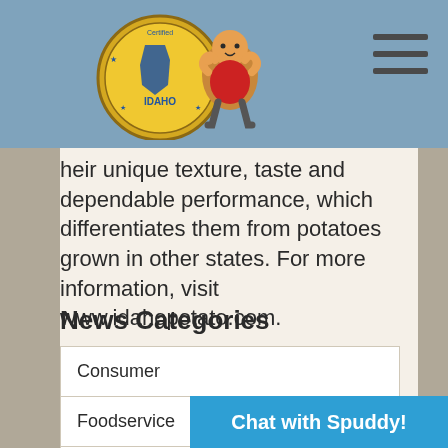[Figure (logo): Idaho Potato Commission certified logo with cartoon potato mascot character giving thumbs up]
their unique texture, taste and dependable performance, which differentiates them from potatoes grown in other states. For more information, visit www.idahopotato.com.
News Categories
Consumer
Foodservice
Big Idaho Potato Truck
Industry
Chat with Spuddy!